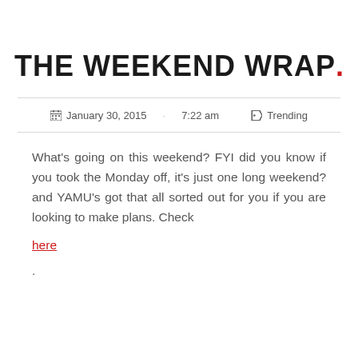THE WEEKEND WRAP.
January 30, 2015   ·   7:22 am   ▷   Trending
What's going on this weekend? FYI did you know if you took the Monday off, it's just one long weekend? and YAMU's got that all sorted out for you if you are looking to make plans. Check
here
.